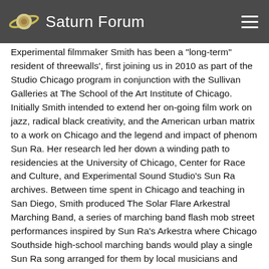Saturn Forum
Experimental filmmaker Smith has been a "long-term" resident of threewalls', first joining us in 2010 as part of the Studio Chicago program in conjunction with the Sullivan Galleries at The School of the Art Institute of Chicago. Initially Smith intended to extend her on-going film work on jazz, radical black creativity, and the American urban matrix to a work on Chicago and the legend and impact of phenom Sun Ra. Her research led her down a winding path to residencies at the University of Chicago, Center for Race and Culture, and Experimental Sound Studio's Sun Ra archives. Between time spent in Chicago and teaching in San Diego, Smith produced The Solar Flare Arkestral Marching Band, a series of marching band flash mob street performances inspired by Sun Ra's Arkestra where Chicago Southside high-school marching bands would play a single Sun Ra song arranged for them by local musicians and composers. This series was recorded as part of a number of short films that Smith